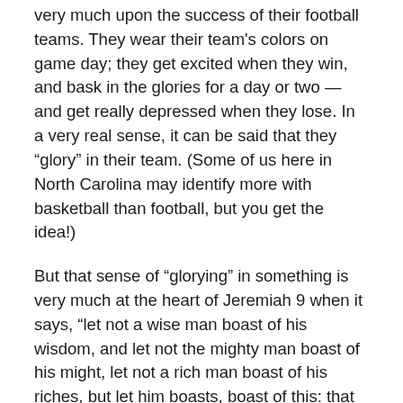very much upon the success of their football teams. They wear their team's colors on game day; they get excited when they win, and bask in the glories for a day or two — and get really depressed when they lose. In a very real sense, it can be said that they “glory” in their team. (Some of us here in North Carolina may identify more with basketball than football, but you get the idea!)
But that sense of “glorying” in something is very much at the heart of Jeremiah 9 when it says, “let not a wise man boast of his wisdom, and let not the mighty man boast of his might, let not a rich man boast of his riches, but let him boasts, boast of this: that he understands and knows Me, that I am the LORD …”.
The word “boast” in this verse is the Hebrew word “halal,” we get our word “Hallelujah” from it. It means “to praise, to glory in something, something like their favorite it